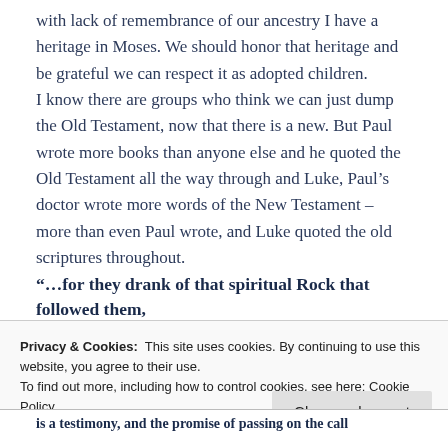with lack of remembrance of our ancestry I have a heritage in Moses. We should honor that heritage and be grateful we can respect it as adopted children.
I know there are groups who think we can just dump the Old Testament, now that there is a new. But Paul wrote more books than anyone else and he quoted the Old Testament all the way through and Luke, Paul's doctor wrote more words of the New Testament – more than even Paul wrote, and Luke quoted the old scriptures throughout.
“…for they drank of that spiritual Rock that followed them,
Privacy & Cookies:  This site uses cookies. By continuing to use this website, you agree to their use.
To find out more, including how to control cookies, see here: Cookie Policy